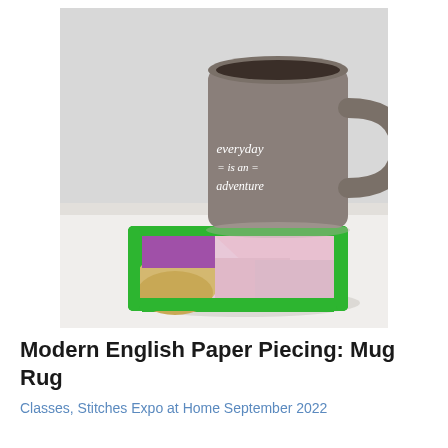[Figure (photo): A grey ceramic mug with cursive text reading 'everyday is an adventure' sitting on a handmade quilted mug rug with green border and colorful fabric patches in purple, pink, and yellow/gold tones, placed on a white surface.]
Modern English Paper Piecing: Mug Rug
Classes, Stitches Expo at Home September 2022